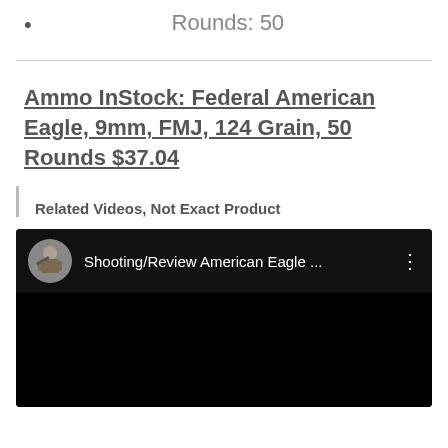Rounds: 50
Ammo InStock: Federal American Eagle, 9mm, FMJ, 124 Grain, 50 Rounds $37.04
Related Videos, Not Exact Product
[Figure (screenshot): YouTube video thumbnail showing 'Shooting/Review American Eagle ...' with a circular avatar of a soldier and a dark/black video player area]